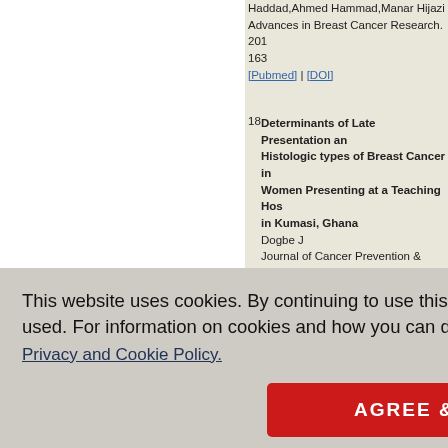Haddad,Ahmed Hammad,Manar Hijazi
Advances in Breast Cancer Research. 2016; 163
[Pubmed] | [DOI]
18 Determinants of Late Presentation and Histologic types of Breast Cancer in Women Presenting at a Teaching Hospital in Kumasi, Ghana
Dogbe J
Journal of Cancer Prevention & Current Research 2015; 3(4)
[Pubmed] | [DOI]
19 Effects of a training program about breast cancer and breast self-examination at the university
...versity
Health Asso...
...at the
Vomen in D...
Govil,Preet K...
r Prevention...
21 Activity on the Knowledge Level of the Participants and its Association with...
This website uses cookies. By continuing to use this website you are giving consent to cookies being used. For information on cookies and how you can disable them visit our
Privacy and Cookie Policy.
AGREE & PROCEED